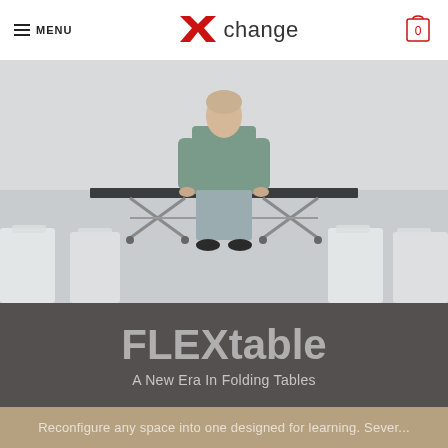MENU | Xchange | 0
[Figure (photo): A man in a grey-green sweater standing behind a long dark folding table on wheels in a large open grey room, with white chairs visible on either side in the foreground.]
FLEXtable
A New Era In Folding Tables
Reconfigure any space into one designed for learning. Sever...